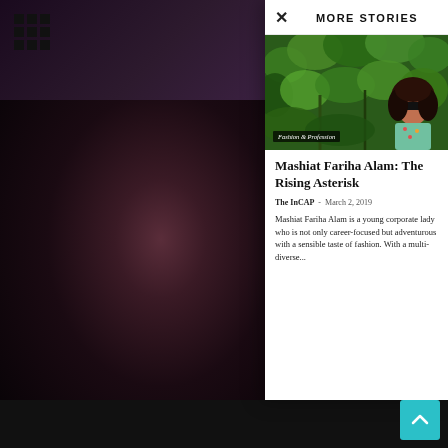[Figure (photo): Grid/menu icon at top left of screen]
MORE STORIES
[Figure (photo): Woman with sunglasses and curly hair in a green garden/jungle setting. Category label 'Fashion & Profession' overlaid at bottom left.]
Mashiat Fariha Alam: The Rising Asterisk
The InCAP  -  March 2, 2019
Mashiat Fariha Alam is a young corporate lady who is not only career-focused but adventurous with a sensible taste of fashion. With a multi-diverse...
[Figure (photo): Background portrait of a dark-skinned person on the left side, partially visible behind the modal panel. Bottom bar with scroll-to-top cyan button.]